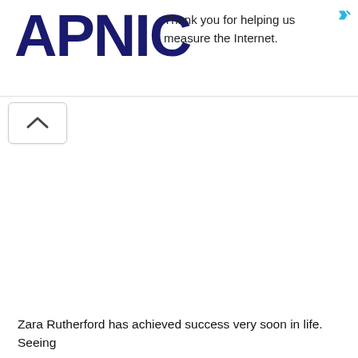[Figure (logo): APNIC logo in large dark navy bold text]
Thank you for helping us measure the Internet.
[Figure (other): Collapse/chevron up button]
Zara Rutherford has achieved success very soon in life. Seeing